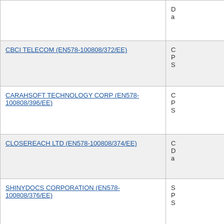| Supplier Name | Description (truncated) |
| --- | --- |
| (truncated top row) | D... a... |
| CBCI TELECOM (EN578-100808/372/EE) | C... P... S... |
| CARAHSOFT TECHNOLOGY CORP (EN578-100808/396/EE) | C... P... S... |
| CLOSEREACH LTD (EN578-100808/374/EE) | C... D... a... |
| SHINYDOCS CORPORATION (EN578-100808/376/EE) | S... P... S... |
| CLOUD TRANSFORMATION SERVICES INC (EN578-100808/377/EE) | S... C... |
| SPARKGEO (EN578-100808/378/EE) | S... P... S... |
| (truncated bottom row) | ... |